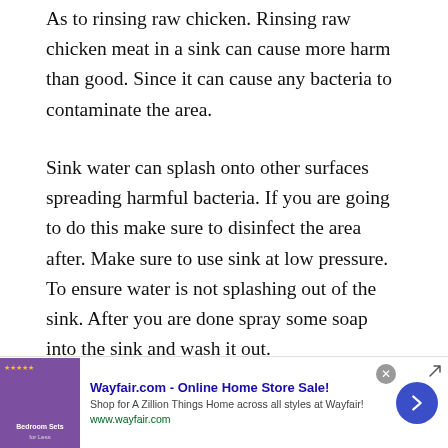As to rinsing raw chicken. Rinsing raw chicken meat in a sink can cause more harm than good. Since it can cause any bacteria to contaminate the area.
Sink water can splash onto other surfaces spreading harmful bacteria. If you are going to do this make sure to disinfect the area after. Make sure to use sink at low pressure. To ensure water is not splashing out of the sink. After you are done spray some soap into the sink and wash it out.
How long to Marinate Raw Chicken?
[Figure (other): Advertisement banner for Wayfair.com - Online Home Store Sale! with purple bedroom sets image on left, ad text in middle, close button and blue arrow navigation button on right.]